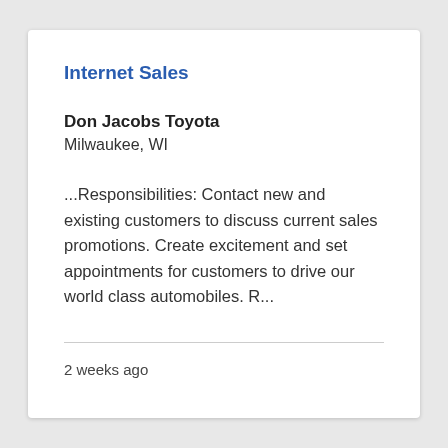Internet Sales
Don Jacobs Toyota
Milwaukee, WI
...Responsibilities: Contact new and existing customers to discuss current sales promotions. Create excitement and set appointments for customers to drive our world class automobiles. R...
2 weeks ago